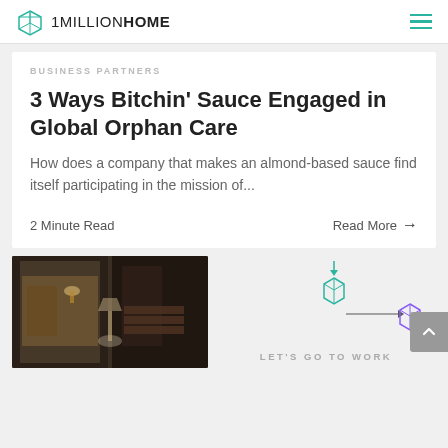1MILLIONHOME
BUSINESS PARTNERS
3 Ways Bitchin' Sauce Engaged in Global Orphan Care
How does a company that makes an almond-based sauce find itself participating in the mission of...
2 Minute Read    Read More →
[Figure (photo): Interior photo showing a room with warm lighting, wooden frames and furniture]
[Figure (infographic): 1MillionHome logo infographic with teal cube icon and arrow, text: LET'S GO TO WORK]